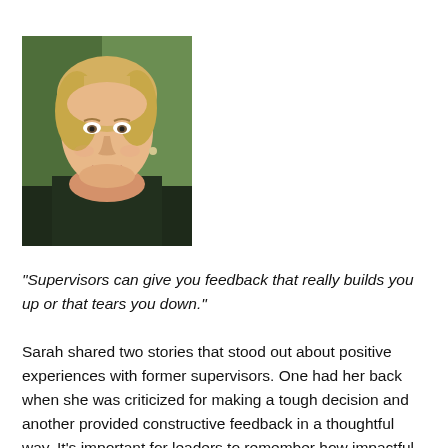[Figure (photo): Headshot of a smiling blonde woman against a green outdoor background]
“Supervisors can give you feedback that really builds you up or that tears you down.”
Sarah shared two stories that stood out about positive experiences with former supervisors. One had her back when she was criticized for making a tough decision and another provided constructive feedback in a thoughtful way. It’s important for leaders to remember how impactful